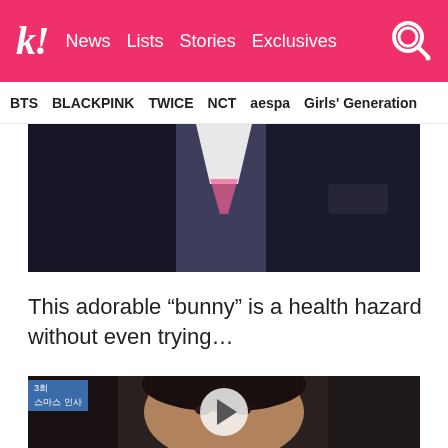k! News Lists Stories Exclusives
BTS BLACKPINK TWICE NCT aespa Girls' Generation
[Figure (photo): Dark promotional photo of a K-pop performer in formal wear, partially visible, dark background]
This adorable “bunny” is a health hazard without even trying…
[Figure (photo): Close-up video frame of a K-pop performer with dark hair and earrings, with Korean text overlay and play button]